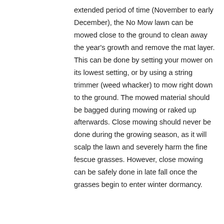extended period of time (November to early December), the No Mow lawn can be mowed close to the ground to clean away the year's growth and remove the mat layer. This can be done by setting your mower on its lowest setting, or by using a string trimmer (weed whacker) to mow right down to the ground. The mowed material should be bagged during mowing or raked up afterwards. Close mowing should never be done during the growing season, as it will scalp the lawn and severely harm the fine fescue grasses. However, close mowing can be safely done in late fall once the grasses begin to enter winter dormancy.